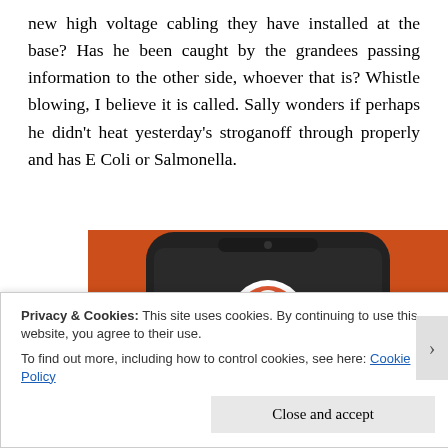new high voltage cabling they have installed at the base? Has he been caught by the grandees passing information to the other side, whoever that is? Whistle blowing, I believe it is called. Sally wonders if perhaps he didn't heat yesterday's stroganoff through properly and has E Coli or Salmonella.
[Figure (illustration): A smartphone with an orange background displaying the DuckDuckGo logo — a white circle with a cartoon duck wearing a collar.]
Privacy & Cookies: This site uses cookies. By continuing to use this website, you agree to their use.
To find out more, including how to control cookies, see here: Cookie Policy